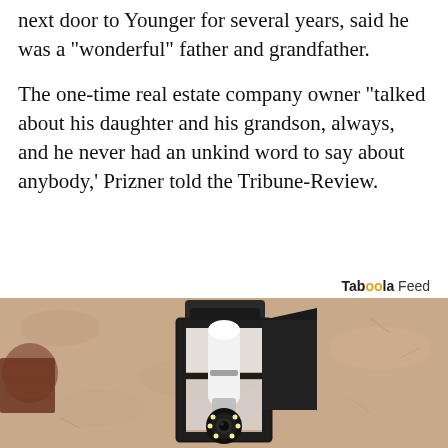next door to Younger for several years, said he was a "wonderful" father and grandfather.
The one-time real estate company owner "talked about his daughter and his grandson, always, and he never had an unkind word to say about anybody,' Prizner told the Tribune-Review.
Taboola Feed
[Figure (photo): A close-up photograph of an outdoor wall lantern with a white security camera bulb installed inside a black metal cage fixture, mounted on a textured beige stucco wall. The camera has a circular lens with LED lights visible at the bottom.]